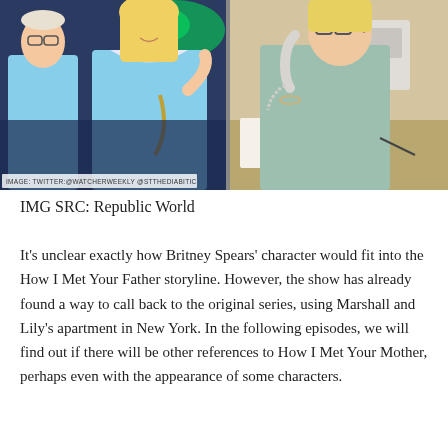[Figure (photo): Two side-by-side TV stills: left shows a man in blue sweater and a woman in blue outfit at what appears to be a bar/club with neon lights; right shows a woman with glasses talking on a phone at a desk.]
IMG SRC: Republic World
It’s unclear exactly how Britney Spears’ character would fit into the How I Met Your Father storyline. However, the show has already found a way to call back to the original series, using Marshall and Lily’s apartment in New York. In the following episodes, we will find out if there will be other references to How I Met Your Mother, perhaps even with the appearance of some characters.